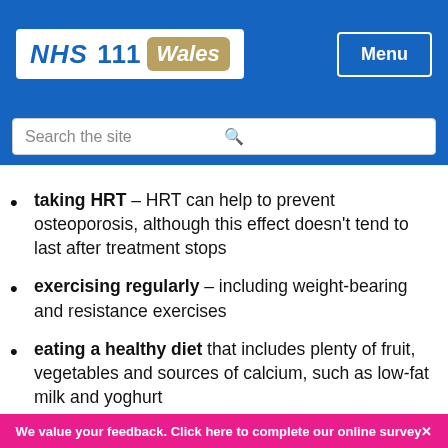NHS 111 Wales — Menu
taking HRT – HRT can help to prevent osteoporosis, although this effect doesn't tend to last after treatment stops
exercising regularly – including weight-bearing and resistance exercises
eating a healthy diet that includes plenty of fruit, vegetables and sources of calcium, such as low-fat milk and yoghurt
getting some sunlight – sunlight on your skin triggers the production of vitamin D, which can help to keep your
We value your feedback. Click here to complete our online survey✕